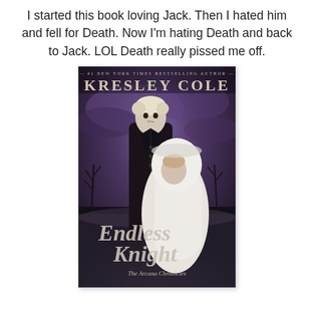I started this book loving Jack. Then I hated him and fell for Death. Now I'm hating Death and back to Jack. LOL Death really pissed me off.
[Figure (illustration): Book cover of 'Endless Knight' by Kresley Cole (#1 New York Times Bestselling Author), part of The Arcana Chronicles series. Shows a pale blond man in a dark coat and a woman in a white hooded cloak against a stormy purple sky.]